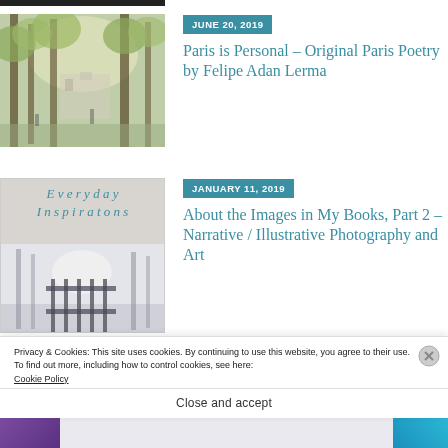[Figure (photo): Autumn trees with sunlight and a building visible through branches]
JUNE 20, 2019
Paris is Personal – Original Paris Poetry by Felipe Adan Lerma
[Figure (photo): Book cover: Everyday Inspirations with a winter gate scene photo]
JANUARY 11, 2019
About the Images in My Books, Part 2 – Narrative / Illustrative Photography and Art
Privacy & Cookies: This site uses cookies. By continuing to use this website, you agree to their use.
To find out more, including how to control cookies, see here:
Cookie Policy
Close and accept